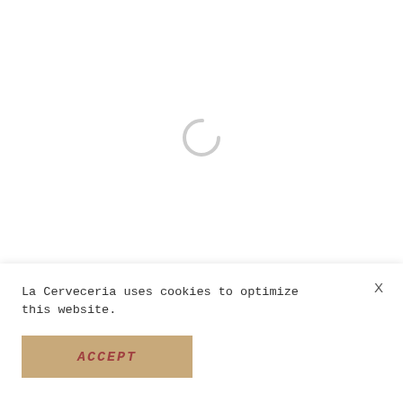[Figure (other): Loading spinner — a light grey circular arc/ring indicating page loading in progress, centered in the white upper area of the page.]
La Cerveceria uses cookies to optimize this website.
[Figure (other): ACCEPT button with tan/beige background and red italic monospace text reading 'ACCEPT']